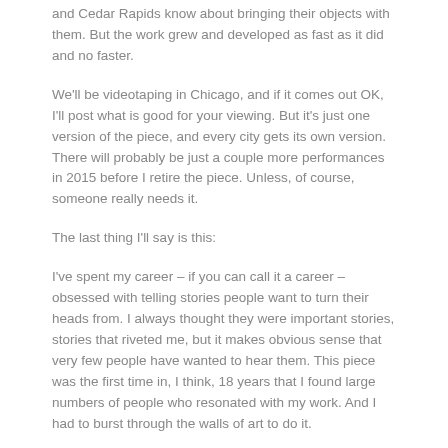and Cedar Rapids know about bringing their objects with them. But the work grew and developed as fast as it did and no faster.
We'll be videotaping in Chicago, and if it comes out OK, I'll post what is good for your viewing. But it's just one version of the piece, and every city gets its own version. There will probably be just a couple more performances in 2015 before I retire the piece. Unless, of course, someone really needs it.
The last thing I'll say is this:
I've spent my career – if you can call it a career – obsessed with telling stories people want to turn their heads from. I always thought they were important stories, stories that riveted me, but it makes obvious sense that very few people have wanted to hear them. This piece was the first time in, I think, 18 years that I found large numbers of people who resonated with my work. And I had to burst through the walls of art to do it.